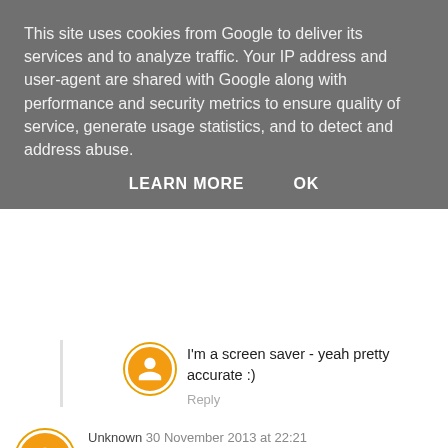This site uses cookies from Google to deliver its services and to analyze traffic. Your IP address and user-agent are shared with Google along with performance and security metrics to ensure quality of service, generate usage statistics, and to detect and address abuse.
LEARN MORE   OK
I'm a screen saver - yeah pretty accurate :)
Reply
Unknown  30 November 2013 at 22:21
I'm a high street pounder! It's actually fairly accurate except I'm not married!
.
Reply
Anonymous  30 November 2013 at 23:31